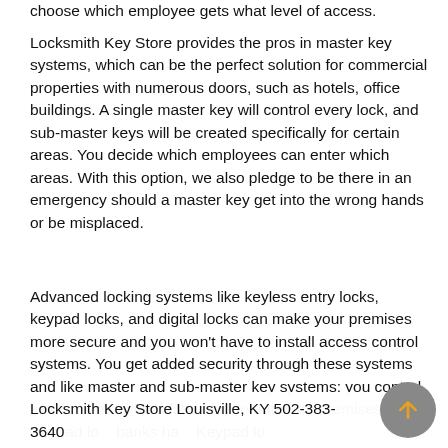choose which employee gets what level of access.
Locksmith Key Store provides the pros in master key systems, which can be the perfect solution for commercial properties with numerous doors, such as hotels, office buildings. A single master key will control every lock, and sub-master keys will be created specifically for certain areas. You decide which employees can enter which areas. With this option, we also pledge to be there in an emergency should a master key get into the wrong hands or be misplaced.
Advanced locking systems like keyless entry locks, keypad locks, and digital locks can make your premises more secure and you won't have to install access control systems. You get added security through these systems and like master and sub-master key systems; you control who can and who will be able to enter the premises. Keypad lo   [cut]   banks ha   [cut]   Keypad lo   [cut]
Locksmith Key Store Louisville, KY 502-383-3640